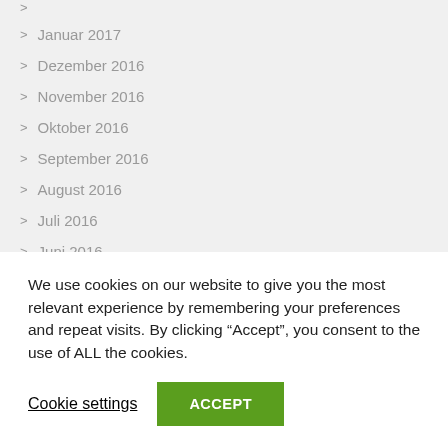Januar 2017
Dezember 2016
November 2016
Oktober 2016
September 2016
August 2016
Juli 2016
Juni 2016
Mai 2016
April 2016
We use cookies on our website to give you the most relevant experience by remembering your preferences and repeat visits. By clicking “Accept”, you consent to the use of ALL the cookies.
Cookie settings
ACCEPT